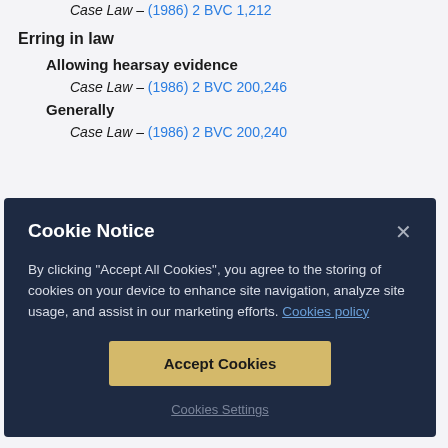Case Law – (1986) 2 BVC 1,212
Erring in law
Allowing hearsay evidence
Case Law – (1986) 2 BVC 200,246
Generally
Case Law – (1986) 2 BVC 200,240
Cookie Notice
By clicking "Accept All Cookies", you agree to the storing of cookies on your device to enhance site navigation, analyze site usage, and assist in our marketing efforts. Cookies policy
Accept Cookies
Cookies Settings